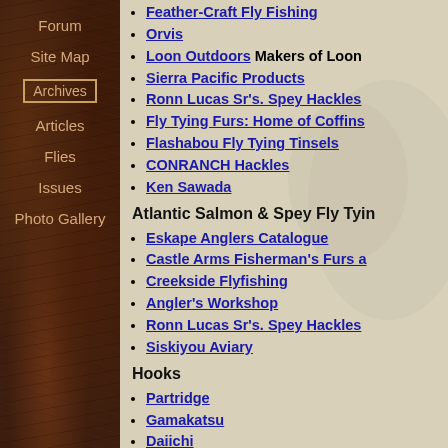Feather-Craft Fly Fishing
Orvis
Loon Outdoors Makers of Loon
Sierra Pacific Products
Ronn Lucas Sr's. Spey Hackles
Fly Tying Furs: Home of Coffins
Flashabou Fly Tying Tinsels
CONRANCH Hackles
Ken Sawada
Atlantic Salmon & Spey Fly Tyin
Eskape Anglers Catalogue
Castle Arms Fisherman's Furs a
Creekside Flyfishing
Angler's Workshop
Ronn Lucas Sr's. Spey Hackles
Siskiyou Aviary
Hooks
Partridge
Gamakatsu
Daiichi
Tiemco Hooks Distributed by U
Bob Veverka's Classic Salmon H
Navigation: Forum, Site Map, Archives, Articles, Flies, Issues, Photo Gallery